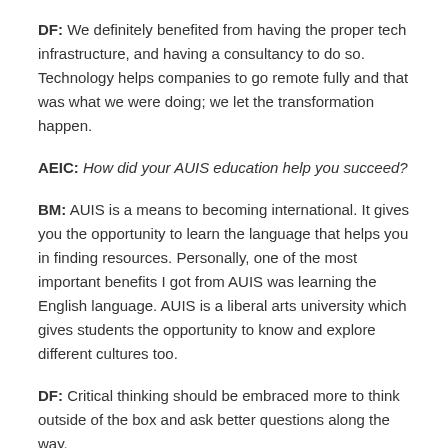DF: We definitely benefited from having the proper tech infrastructure, and having a consultancy to do so. Technology helps companies to go remote fully and that was what we were doing; we let the transformation happen.
AEIC: How did your AUIS education help you succeed?
BM: AUIS is a means to becoming international. It gives you the opportunity to learn the language that helps you in finding resources. Personally, one of the most important benefits I got from AUIS was learning the English language. AUIS is a liberal arts university which gives students the opportunity to know and explore different cultures too.
DF: Critical thinking should be embraced more to think outside of the box and ask better questions along the way.